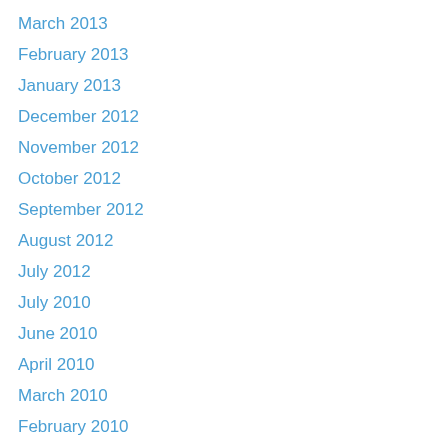March 2013
February 2013
January 2013
December 2012
November 2012
October 2012
September 2012
August 2012
July 2012
July 2010
June 2010
April 2010
March 2010
February 2010
January 2010
May 2009
April 2009
March 2009
February 2009
January 2009